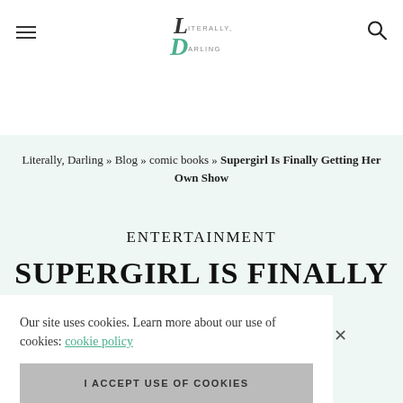Literally, Darling — logo and navigation
Literally, Darling » Blog » comic books » Supergirl Is Finally Getting Her Own Show
ENTERTAINMENT
SUPERGIRL IS FINALLY GETTING
Our site uses cookies. Learn more about our use of cookies: cookie policy
I ACCEPT USE OF COOKIES